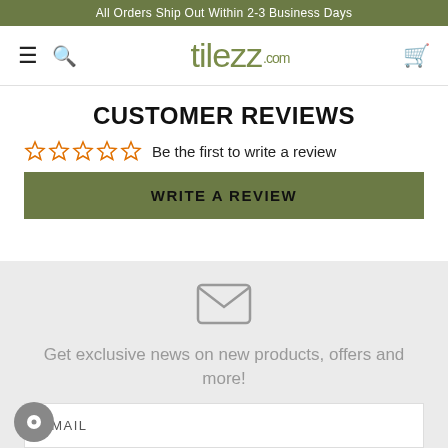All Orders Ship Out Within 2-3 Business Days
[Figure (logo): tilezz.com logo with hamburger menu, search icon, and cart icon navigation bar]
CUSTOMER REVIEWS
☆☆☆☆☆ Be the first to write a review
WRITE A REVIEW
[Figure (illustration): Envelope/mail icon]
Get exclusive news on new products, offers and more!
EMAIL